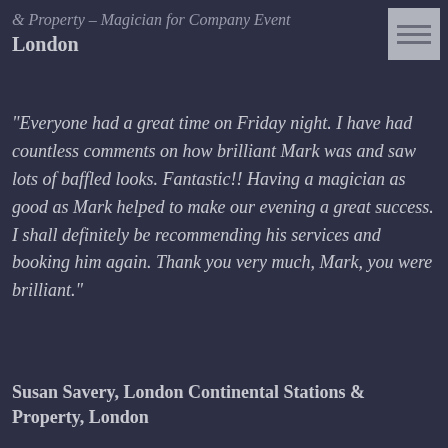& Property – Magician for Company Event London
"Everyone had a great time on Friday night. I have had countless comments on how brilliant Mark was and saw lots of baffled looks. Fantastic!! Having a magician as good as Mark helped to make our evening a great success. I shall definitely be recommending his services and booking him again. Thank you very much, Mark, you were brilliant."
Susan Savery, London Continental Stations & Property, London